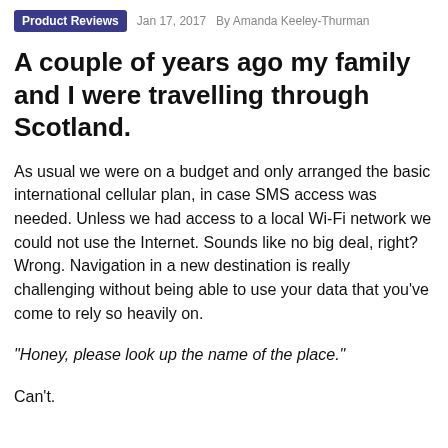Product Reviews   Jan 17, 2017   By Amanda Keeley-Thurman
A couple of years ago my family and I were travelling through Scotland.
As usual we were on a budget and only arranged the basic international cellular plan, in case SMS access was needed. Unless we had access to a local Wi-Fi network we could not use the Internet. Sounds like no big deal, right? Wrong. Navigation in a new destination is really challenging without being able to use your data that you’ve come to rely so heavily on.
“Honey, please look up the name of the place.”
Can’t.